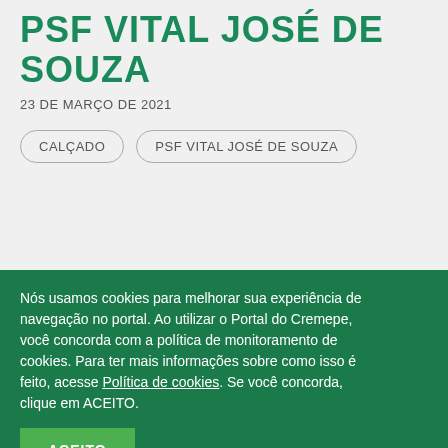PSF VITAL JOSÉ DE SOUZA
23 DE MARÇO DE 2021
CALÇADO
PSF VITAL JOSÉ DE SOUZA
[Figure (illustration): Accessibility icon showing a hand with signal waves]
[Figure (illustration): Accessibility icon showing an eye with a line through it]
Nós usamos cookies para melhorar sua experiência de navegação no portal. Ao utilizar o Portal do Cremepe, você concorda com a política de monitoramento de cookies. Para ter mais informações sobre como isso é feito, acesse Política de cookies. Se você concorda, clique em ACEITO.
ACEITO